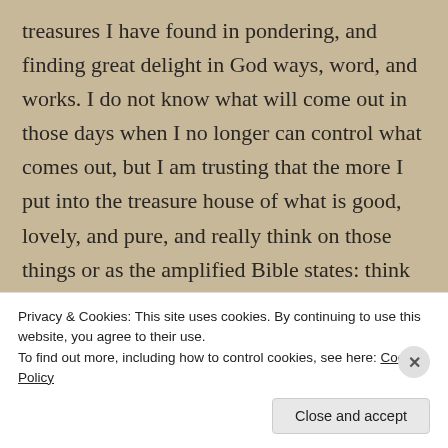treasures I have found in pondering, and finding great delight in God ways, word, and works. I do not know what will come out in those days when I no longer can control what comes out, but I am trusting that the more I put into the treasure house of what is good, lovely, and pure, and really think on those things or as the amplified Bible states: think on and weigh and take account of these things [fix your minds on them], that there will be more delightful things to wash away the bitterness or discontent from life's tougher moments. I know that this will not
Privacy & Cookies: This site uses cookies. By continuing to use this website, you agree to their use.
To find out more, including how to control cookies, see here: Cookie Policy
Close and accept